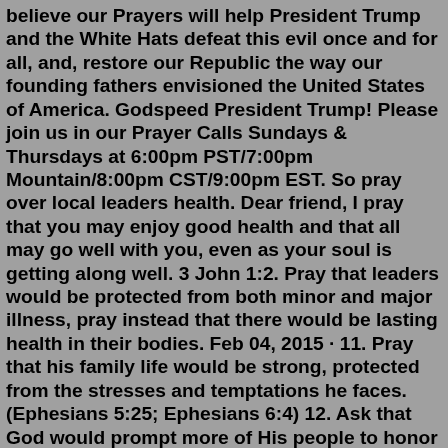believe our Prayers will help President Trump and the White Hats defeat this evil once and for all, and, restore our Republic the way our founding fathers envisioned the United States of America. Godspeed President Trump! Please join us in our Prayer Calls Sundays & Thursdays at 6:00pm PST/7:00pm Mountain/8:00pm CST/9:00pm EST. So pray over local leaders health. Dear friend, I pray that you may enjoy good health and that all may go well with you, even as your soul is getting along well. 3 John 1:2. Pray that leaders would be protected from both minor and major illness, pray instead that there would be lasting health in their bodies. Feb 04, 2015 · 11. Pray that his family life would be strong, protected from the stresses and temptations he faces. (Ephesians 5:25; Ephesians 6:4) 12. Ask that God would prompt more of His people to honor our President and to pray for him. (I Peter 2:17; I Timothy 2:1-2) Let's think about that final one for a moment before we close. Staff Report May 26, 2022.